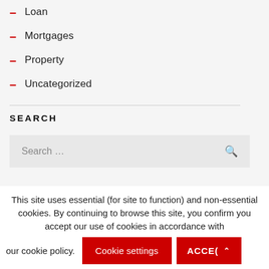Loan
Mortgages
Property
Uncategorized
SEARCH
Search ...
This site uses essential (for site to function) and non-essential cookies. By continuing to browse this site, you confirm you accept our use of cookies in accordance with our cookie policy.